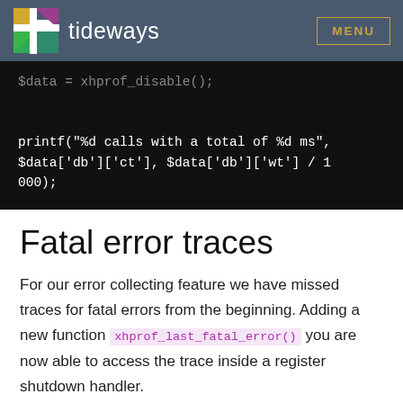tideways | MENU
[Figure (screenshot): Code block showing PHP code: $data = xhprof_disable(); and printf("%d calls with a total of %d ms", $data['db']['ct'], $data['db']['wt'] / 1000);]
Fatal error traces
For our error collecting feature we have missed traces for fatal errors from the beginning. Adding a new function xhprof_last_fatal_error() you are now able to access the trace inside a register shutdown handler.